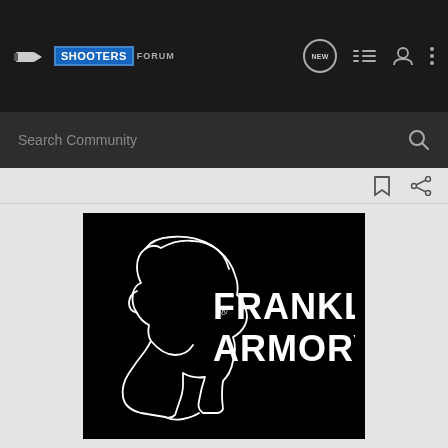SHOOTERS FORUM
Search Community
[Figure (logo): Franklin Armory logo — white outline silhouette of Benjamin Franklin profile facing right, with 'FRANKLIN® ARMORY' in bold white sans-serif text on black background]